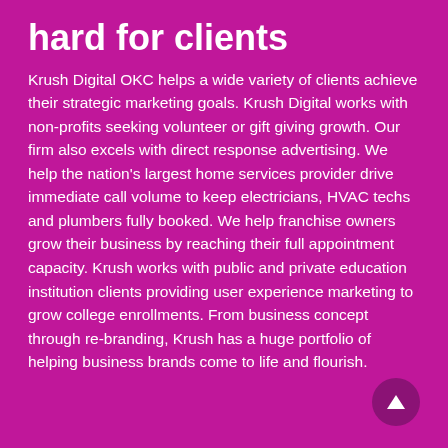hard for clients
Krush Digital OKC helps a wide variety of clients achieve their strategic marketing goals. Krush Digital works with non-profits seeking volunteer or gift giving growth. Our firm also excels with direct response advertising. We help the nation's largest home services provider drive immediate call volume to keep electricians, HVAC techs and plumbers fully booked. We help franchise owners grow their business by reaching their full appointment capacity. Krush works with public and private education institution clients providing user experience marketing to grow college enrollments. From business concept through re-branding, Krush has a huge portfolio of helping business brands come to life and flourish.